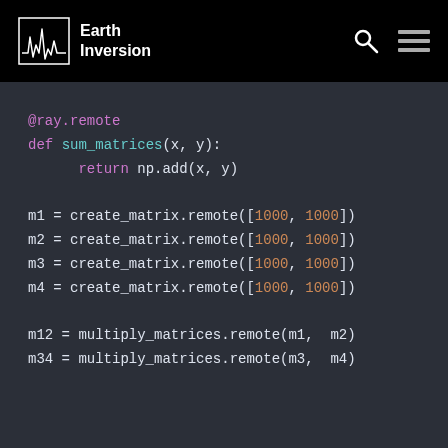Earth Inversion
@ray.remote
def sum_matrices(x, y):
    return np.add(x, y)

m1 = create_matrix.remote([1000, 1000])
m2 = create_matrix.remote([1000, 1000])
m3 = create_matrix.remote([1000, 1000])
m4 = create_matrix.remote([1000, 1000])

m12 = multiply_matrices.remote(m1, m2)
m34 = multiply_matrices.remote(m3, m4)